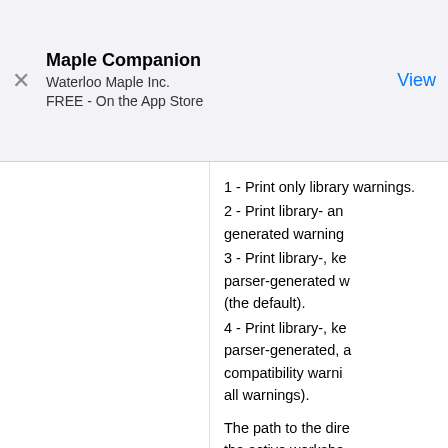Maple Companion
Waterloo Maple Inc.
FREE - On the App Store
View
1 - Print only library warnings.
2 - Print library- and kernel-generated warnings.
3 - Print library-, kernel-, and parser-generated warnings (the default).
4 - Print library-, kernel-, parser-generated, and compatibility warnings (all warnings).
worksheetdir   string   The path to the directory of the active worksheet. Unlike currentdir, this cannot be set. For a file that has not yet saved, the value...